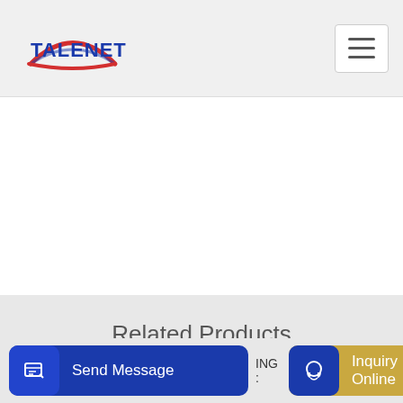TALENET
Related Products
HZN90 concrete batching plant germany for sale in Cambodia
reasonable price concrete mixer in sri lanka with top quality
Send Message | ING | Inquiry Online